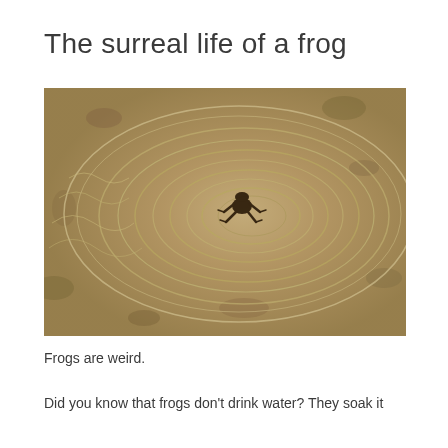The surreal life of a frog
[Figure (photo): Aerial view of a frog in shallow water creating circular ripples on a sandy bottom]
Frogs are weird.
Did you know that frogs don't drink water? They soak it